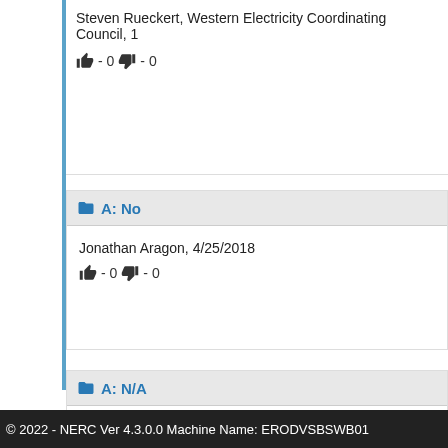Steven Rueckert, Western Electricity Coordinating Council, 1
👍 - 0 👎 - 0
A: No
Jonathan Aragon, 4/25/2018
👍 - 0 👎 - 0
A: N/A
Jeanne Kurzynowski, On Behalf of: CMS Energy - Consume
👍 - 1 👎 - 0
© 2022 - NERC Ver 4.3.0.0 Machine Name: ERODVSBSWB01